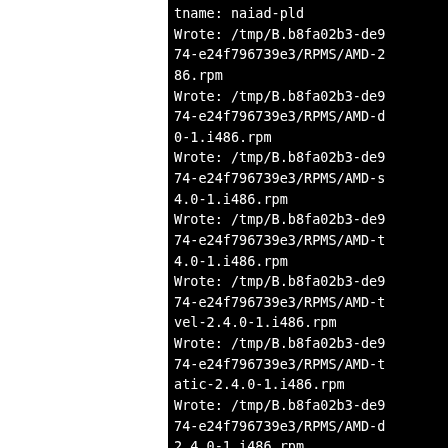[Figure (screenshot): Terminal/console output showing RPM build log entries. White text on black background with partial lines visible at right edge. Lines show 'tname: naiad-pld', multiple 'Wrote: /tmp/B.b8fa02b3-de9...' entries with paths to RPM files in AMD architecture directories. Last visible line shows 'Executing(%clean): /bin/sh...' highlighted in green.]